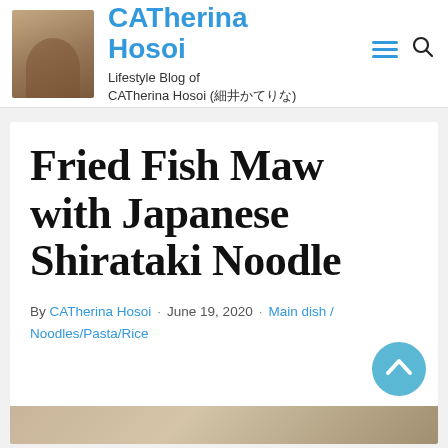CATherina Hosoi
Lifestyle Blog of CATherina Hosoi (細井かてりな)
Fried Fish Maw with Japanese Shirataki Noodle
By CATherina Hosoi · June 19, 2020 · Main dish / Noodles/Pasta/Rice